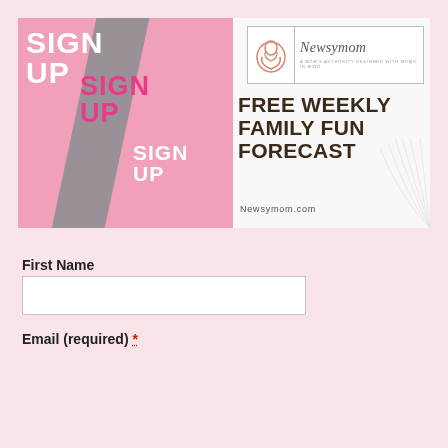[Figure (illustration): Newsymom website sign-up banner with 'SIGN UP' text repeated in pink and gray diagonal stripes on the left, Newsymom logo in top right, and 'FREE WEEKLY FAMILY FUN FORECAST' headline with Newsymom.com URL on the right side.]
First Name
Email (required) *